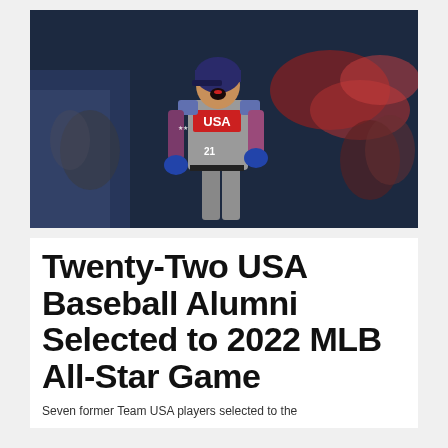[Figure (photo): Baseball player wearing USA jersey number 21 in gray uniform with patriotic red/white/blue accents, running and celebrating with mouth open, blue gloves, crowd visible in background]
Twenty-Two USA Baseball Alumni Selected to 2022 MLB All-Star Game
Seven former Team USA players selected to the